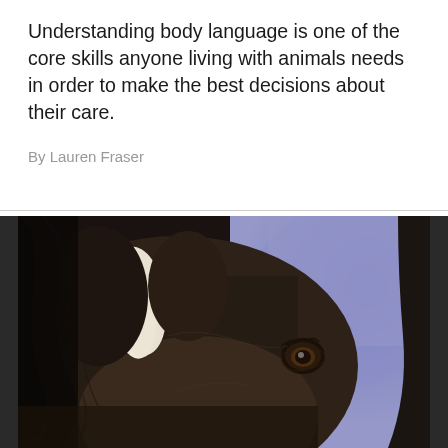Understanding body language is one of the core skills anyone living with animals needs in order to make the best decisions about their care.
By Lauren Fraser
[Figure (photo): Close-up photograph of a horse's face showing its eye, a white blaze on its forehead, dark brown coat, and mane against a blue-grey sky background.]